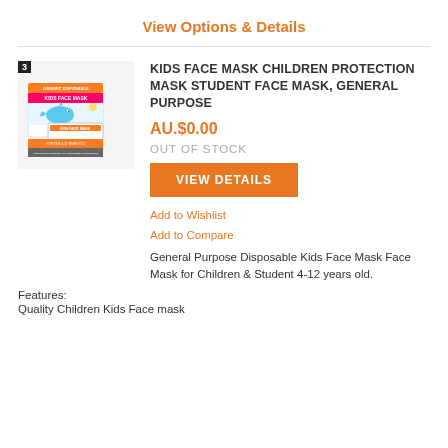View Options & Details
[Figure (photo): Product image of Generic Disposable Kids Face Mask box, for kids 4-12 years old, with whale cartoon design. Item numbered 3.]
KIDS FACE MASK CHILDREN PROTECTION MASK STUDENT FACE MASK, GENERAL PURPOSE
AU.$0.00
OUT OF STOCK
VIEW DETAILS
Add to Wishlist
Add to Compare
General Purpose Disposable Kids Face Mask Face Mask for Children & Student 4-12 years old.
Features:
Quality Children Kids Face mask